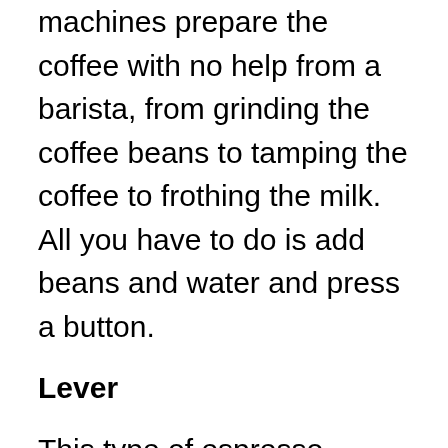machines prepare the coffee with no help from a barista, from grinding the coffee beans to tamping the coffee to frothing the milk. All you have to do is add beans and water and press a button.
Lever
This type of espresso machine uses a piston driven by manual pressure. When lifted, the piston draws water from the reservoir into a small chamber and then pushes the water into the ground coffee